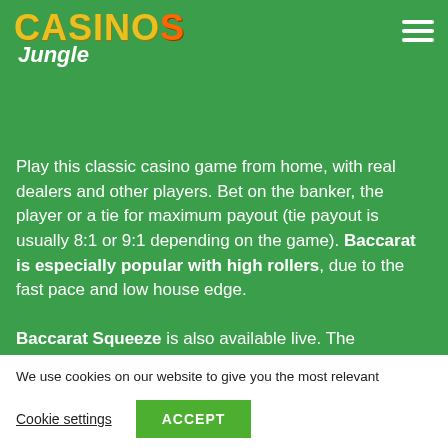[Figure (logo): Casinos Jungle logo with yellow and orange text on green background]
Play this classic casino game from home, with real dealers and other players. Bet on the banker, the player or a tie for maximum payout (tie payout is usually 8:1 or 9:1 depending on the game). Baccarat is especially popular with high rollers, due to the fast pace and low house edge.

Baccarat Squeeze is also available live. The gameplay is the same as regular baccarat but the game is made more exciting with the ritual of giving the player a hint...
We use cookies on our website to give you the most relevant experience by remembering your preferences and repeat visits. By clicking “Accept”, you consent to the use of ALL the cookies.
Cookie settings
ACCEPT